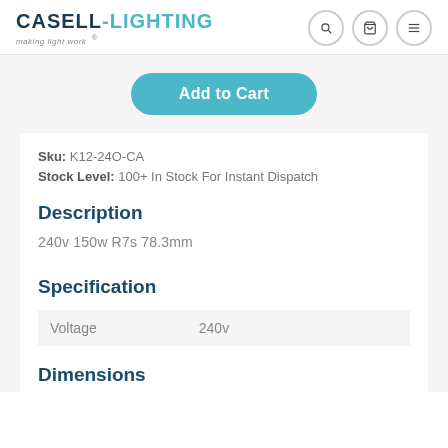CASELL-LIGHTING making light work
Add to Cart
Sku: K12-24O-CA
Stock Level: 100+ In Stock For Instant Dispatch
Description
240v 150w R7s 78.3mm
Specification
| Voltage | 240v |
| --- | --- |
Dimensions